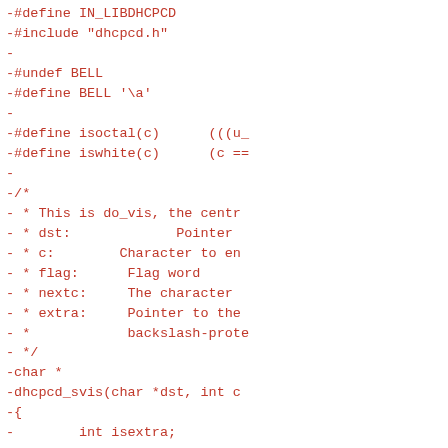-#define IN_LIBDHCPCD
-#include "dhcpcd.h"
-
-#undef BELL
-#define BELL '\a'
-
-#define isoctal(c)      (((u_
-#define iswhite(c)      (c ==
-
-/*
- * This is do_vis, the centr
- * dst:             Pointer
- * c:        Character to en
- * flag:      Flag word
- * nextc:     The character
- * extra:     Pointer to the
- *            backslash-prote
- */
-char *
-dhcpcd_svis(char *dst, int c
-{
-        int isextra;
-
-        isextra = strchr(extr
-        if (!isextra && isasc
-                *dst++ = (cha
-                return dst;
-        }
-        if (flag & VIS_CSTYLE
-                switch (c) {
-                case '\n':
-                        *dst-
-                        retur